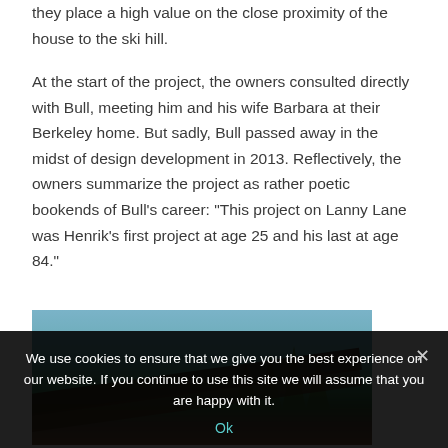they place a high value on the close proximity of the house to the ski hill.
At the start of the project, the owners consulted directly with Bull, meeting him and his wife Barbara at their Berkeley home. But sadly, Bull passed away in the midst of design development in 2013. Reflectively, the owners summarize the project as rather poetic bookends of Bull's career: "This project on Lanny Lane was Henrik's first project at age 25 and his last at age 84."
[Figure (photo): Exterior photo of a building with dark wooden beams on the roof, surrounded by trees with a blue sky in the background. The image is partially visible.]
We use cookies to ensure that we give you the best experience on our website. If you continue to use this site we will assume that you are happy with it.
Ok